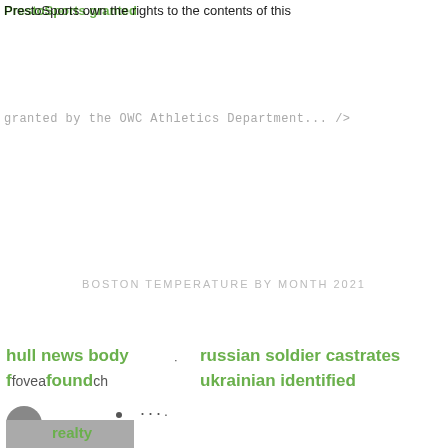PrestoSports own the rights to the contents of this
Presto Sports own the rights to the contents of this
granted by the OWC Athletics Department... />
BOSTON TEMPERATURE BY MONTH 2021
hull news body found
fovearch
russian soldier castrates ukrainian identified
realty block